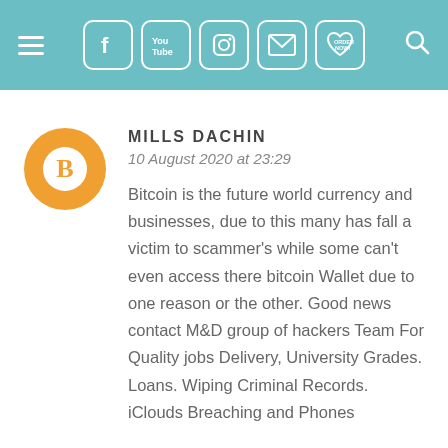Navigation bar with hamburger menu, social icons (Facebook, YouTube, Instagram, Email, Order Now heart), and search icon
MILLS DACHIN
10 August 2020 at 23:29
Bitcoin is the future world currency and businesses, due to this many has fall a victim to scammer's while some can't even access there bitcoin Wallet due to one reason or the other. Good news contact M&D group of hackers Team For Quality jobs Delivery, University Grades. Loans. Wiping Criminal Records. iClouds Breaching and Phones